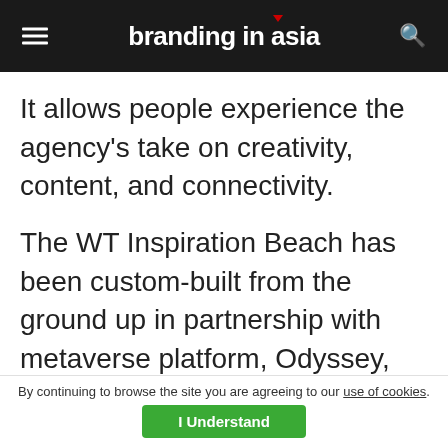branding in asia
It allows people experience the agency’s take on creativity, content, and connectivity.
The WT Inspiration Beach has been custom-built from the ground up in partnership with metaverse platform, Odyssey, and features collaboration spaces, a networking lounge area, as well as a creative showcase of Wunderman Thompson’s work. Later this week
By continuing to browse the site you are agreeing to our use of cookies. I Understand